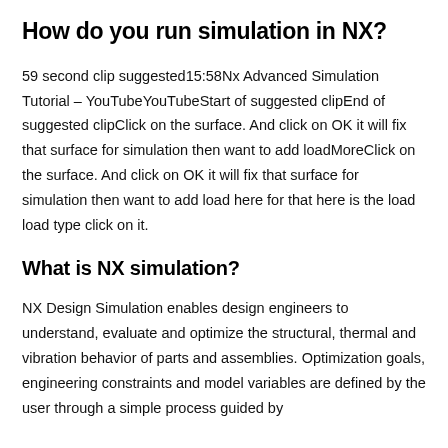How do you run simulation in NX?
59 second clip suggested15:58Nx Advanced Simulation Tutorial – YouTubeYouTubeStart of suggested clipEnd of suggested clipClick on the surface. And click on OK it will fix that surface for simulation then want to add loadMoreClick on the surface. And click on OK it will fix that surface for simulation then want to add load here for that here is the load load type click on it.
What is NX simulation?
NX Design Simulation enables design engineers to understand, evaluate and optimize the structural, thermal and vibration behavior of parts and assemblies. Optimization goals, engineering constraints and model variables are defined by the user through a simple process guided by